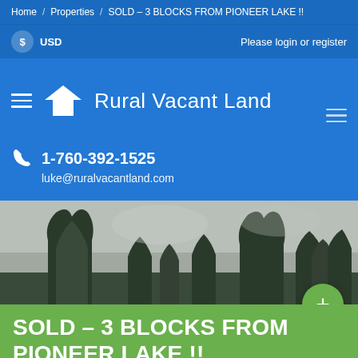Home / Properties / SOLD – 3 BLOCKS FROM PIONEER LAKE !!
$ USD    Please login or register
Rural Vacant Land
1-760-392-1525
luke@ruralvacantland.com
[Figure (photo): Outdoor photo of trees with grey sky background, property listing image]
SOLD – 3 BLOCKS FROM PIONEER LAKE !!